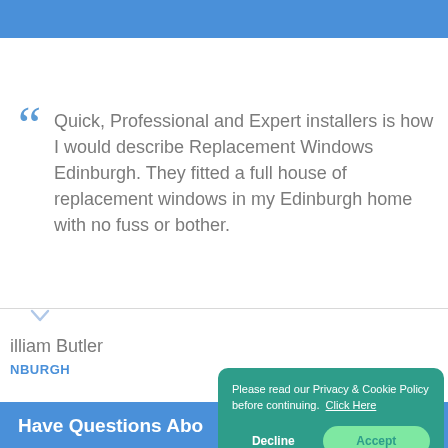[Figure (screenshot): Blue header bar at top of webpage]
Quick, Professional and Expert installers is how I would describe Replacement Windows Edinburgh. They fitted a full house of replacement windows in my Edinburgh home with no fuss or bother.
illiam Butler
NBURGH
Have Questions Abo
Please read our Privacy & Cookie Policy before continuing. Click Here
Decline
Accept